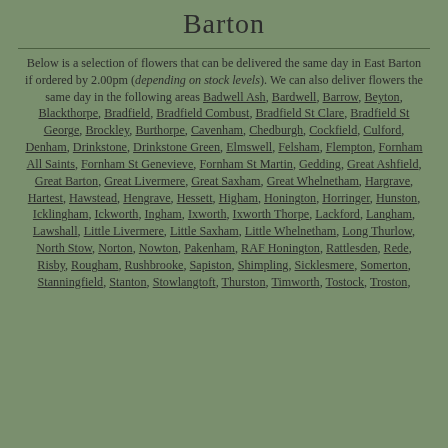Barton
Below is a selection of flowers that can be delivered the same day in East Barton if ordered by 2.00pm (depending on stock levels). We can also deliver flowers the same day in the following areas Badwell Ash, Bardwell, Barrow, Beyton, Blackthorpe, Bradfield, Bradfield Combust, Bradfield St Clare, Bradfield St George, Brockley, Burthorpe, Cavenham, Chedburgh, Cockfield, Culford, Denham, Drinkstone, Drinkstone Green, Elmswell, Felsham, Flempton, Fornham All Saints, Fornham St Genevieve, Fornham St Martin, Gedding, Great Ashfield, Great Barton, Great Livermere, Great Saxham, Great Whelnetham, Hargrave, Hartest, Hawstead, Hengrave, Hessett, Higham, Honington, Horringer, Hunston, Icklingham, Ickworth, Ingham, Ixworth, Ixworth Thorpe, Lackford, Langham, Lawshall, Little Livermere, Little Saxham, Little Whelnetham, Long Thurlow, North Stow, Norton, Nowton, Pakenham, RAF Honington, Rattlesden, Rede, Risby, Rougham, Rushbrooke, Sapiston, Shimpling, Sicklesmere, Somerton, Stanningfield, Stanton, Stowlangtoft, Thurston, Timworth, Tostock, Troston,